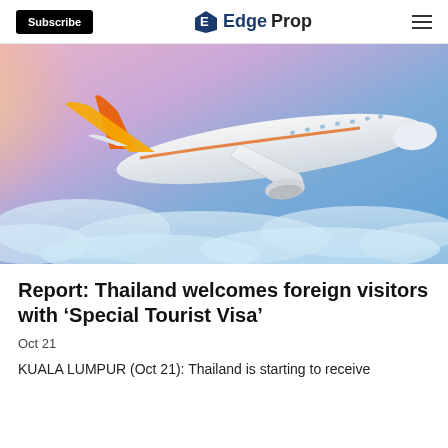Subscribe | EdgeProp
[Figure (photo): A commercial airplane flying above clouds against a blue and pink sky background. The plane has an orange and white livery.]
Report: Thailand welcomes foreign visitors with ‘Special Tourist Visa’
Oct 21
KUALA LUMPUR (Oct 21): Thailand is starting to receive